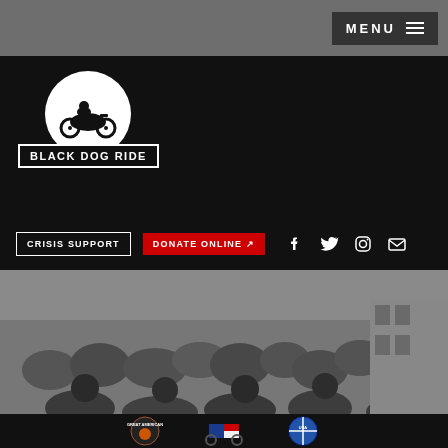MENU
[Figure (logo): Black Dog Ride logo: white circle with motorcycle silhouette, text 'Black Dog Ride' in box below]
CRISIS SUPPORT
DONATE ONLINE ↗
[Figure (photo): Black and white photograph of a large group of motorcycle riders on a road]
[Figure (photo): Dark bottom section with three logos: Great American circular badge, a motorcycle with Australian and American flags, and a circular USA badge]